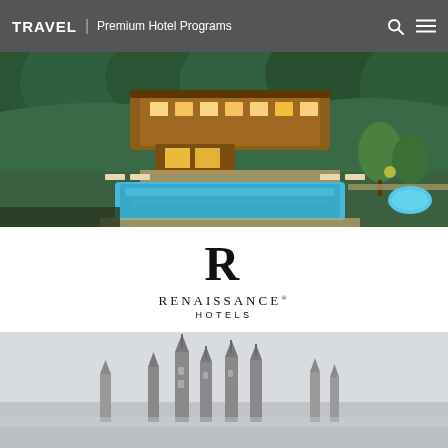TRAVEL | Premium Hotel Programs
[Figure (photo): Aerial view of a luxury resort hotel with illuminated warm-toned lodge buildings nestled in green hills, with a large rectangular swimming pool in the foreground surrounded by lounge chairs and garden lighting at dusk.]
[Figure (logo): Renaissance Hotels logo: a large serif R above the word RENAISSANCE with registered trademark symbol and HOTELS below in spaced capitals.]
[Figure (photo): Partial view of European city skyline with gothic cathedral spires and towers visible against a light grey sky.]